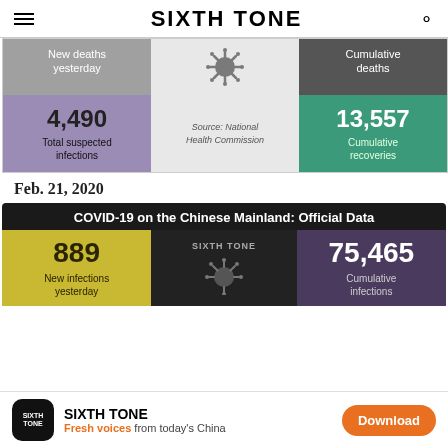SIXTH TONE
[Figure (infographic): COVID-19 statistics infographic (partial top): New deaths yesterday, Cumulative deaths (dark), 4,490 Total suspected infections (purple), coronavirus icon, Source: National Health Commission, 13,557 Cumulative recoveries (green)]
Feb. 21, 2020
[Figure (infographic): COVID-19 on the Chinese Mainland: Official Data — 889 New infections yesterday (yellow), Sixth Tone logo center with coronavirus icon, 75,465 Cumulative infections (purple)]
SIXTH TONE — Fresh voices from today's China — Download